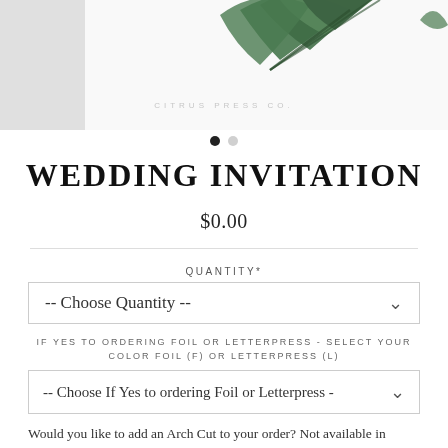[Figure (photo): Product image showing green palm leaves / botanical arrangement over a white background with faint text 'CITRUS PRESS CO.' visible]
WEDDING INVITATION
$0.00
QUANTITY*
-- Choose Quantity --
IF YES TO ORDERING FOIL OR LETTERPRESS - SELECT YOUR COLOR FOIL (F) OR LETTERPRESS (L)
-- Choose If Yes to ordering Foil or Letterpress -
Would you like to add an Arch Cut to your order? Not available in foil or letterpress.